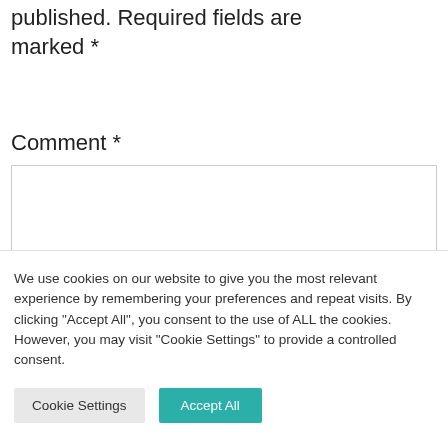published. Required fields are marked *
Comment *
We use cookies on our website to give you the most relevant experience by remembering your preferences and repeat visits. By clicking "Accept All", you consent to the use of ALL the cookies. However, you may visit "Cookie Settings" to provide a controlled consent.
Cookie Settings
Accept All